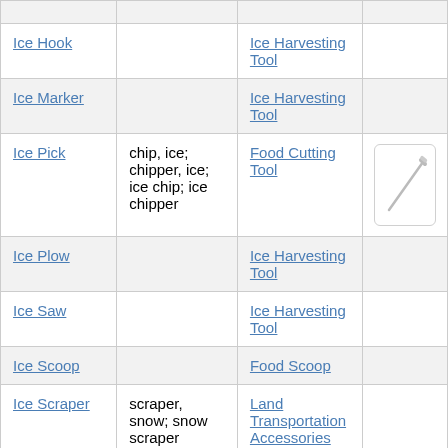| Name | Also Known As | Category | Image |
| --- | --- | --- | --- |
| Ice Hook |  | Ice Harvesting Tool |  |
| Ice Marker |  | Ice Harvesting Tool |  |
| Ice Pick | chip, ice; chipper, ice; ice chip; ice chipper | Food Cutting Tool | [image of ice pick] |
| Ice Plow |  | Ice Harvesting Tool |  |
| Ice Saw |  | Ice Harvesting Tool |  |
| Ice Scoop |  | Food Scoop |  |
| Ice Scraper | scraper, snow; snow scraper | Land Transportation Accessories |  |